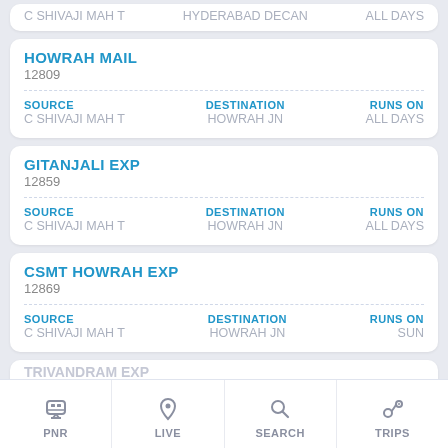C SHIVAJI MAH T | HYDERABAD DECAN | ALL DAYS
HOWRAH MAIL
12809
SOURCE: C SHIVAJI MAH T | DESTINATION: HOWRAH JN | RUNS ON: ALL DAYS
GITANJALI EXP
12859
SOURCE: C SHIVAJI MAH T | DESTINATION: HOWRAH JN | RUNS ON: ALL DAYS
CSMT HOWRAH EXP
12869
SOURCE: C SHIVAJI MAH T | DESTINATION: HOWRAH JN | RUNS ON: SUN
TRIVANDRAM EXP
162...
PNR | LIVE | SEARCH | TRIPS